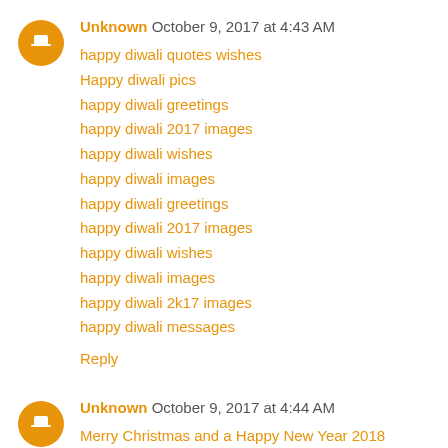Unknown  October 9, 2017 at 4:43 AM
happy diwali quotes wishes
Happy diwali pics
happy diwali greetings
happy diwali 2017 images
happy diwali wishes
happy diwali images
happy diwali greetings
happy diwali 2017 images
happy diwali wishes
happy diwali images
happy diwali 2k17 images
happy diwali messages
Reply
Unknown  October 9, 2017 at 4:44 AM
Merry Christmas and a Happy New Year 2018
Merry Christmas and a Happy New Year 2018
Merry Christmas And Happy New Year 2018
New Year 2018 Wallpapers Free Download